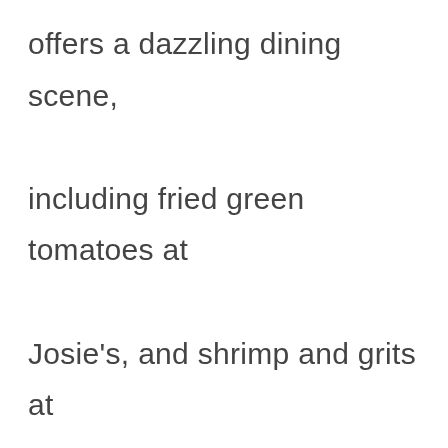offers a dazzling dining scene, including fried green tomatoes at Josie's, and shrimp and grits at Bourbon n' Toulouse.
Local LEX Market, located downtown, is a great place to buy gifts for the Kentucky lover in your life. Local LEX features artisanal products from over sixty craftspeople and includes home